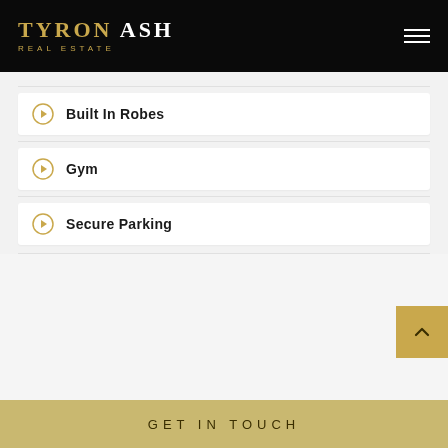TYRON ASH REAL ESTATE
Built In Robes
Gym
Secure Parking
GET IN TOUCH